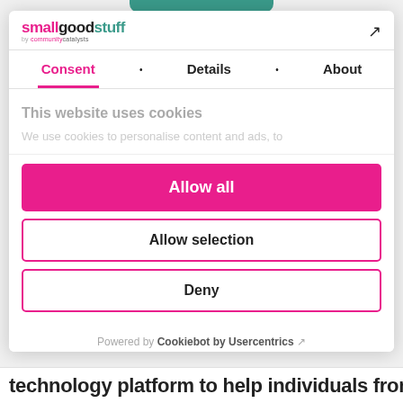[Figure (screenshot): Teal rounded bar at top center of modal]
smallgoodstuff by communitycatalysts
Consent • Details • About
This website uses cookies
We use cookies to personalise content and ads, to
Allow all
Allow selection
Deny
Powered by Cookiebot by Usercentrics
technology platform to help individuals from